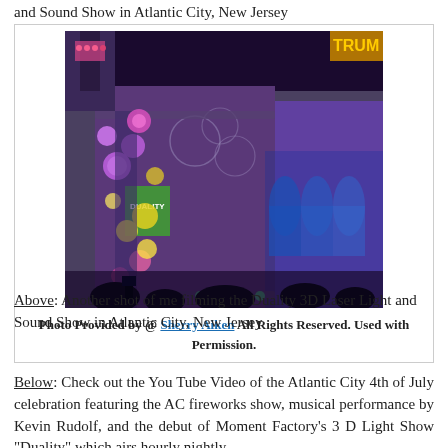and Sound Show in Atlantic City, New Jersey
[Figure (photo): Night photo of a building facade (Trump building in Atlantic City) illuminated with colorful 3D laser light projections including purple, blue, pink and yellow bubble/orb patterns as part of the Duality 3D Laser Light and Sound Show.]
Photo Provided by @ Sherry Aiken All Rights Reserved. Used with Permission.
Above: Another shot of me filming the Duality 3D Laser Light and Sound Show in Atlantic City, New Jersey
Below: Check out the You Tube Video of the Atlantic City 4th of July celebration featuring the AC fireworks show, musical performance by Kevin Rudolf, and the debut of Moment Factory's 3 D Light Show "Duality" which airs hourly nightly